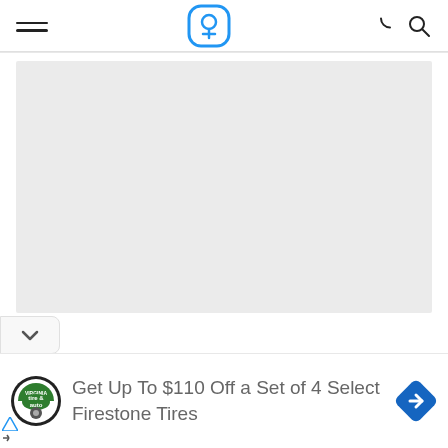Navigation header with hamburger menu, logo, moon/dark-mode icon, and search icon
[Figure (other): Large light gray placeholder image area]
[Figure (other): Chevron/down arrow button on left side]
Get Up To $110 Off a Set of 4 Select Firestone Tires